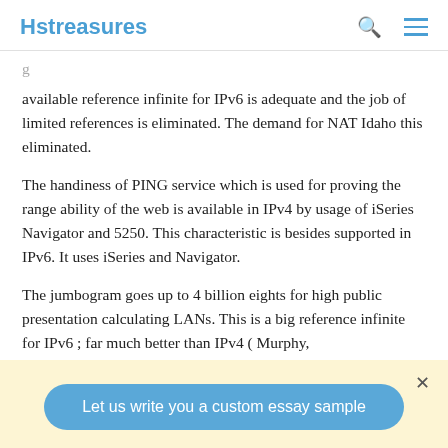Hstreasures
available reference infinite for IPv6 is adequate and the job of limited references is eliminated. The demand for NAT Idaho this eliminated.
The handiness of PING service which is used for proving the range ability of the web is available in IPv4 by usage of iSeries Navigator and 5250. This characteristic is besides supported in IPv6. It uses iSeries and Navigator.
The jumbogram goes up to 4 billion eights for high public presentation calculating LANs. This is a big reference infinite for IPv6 ; far much better than IPv4 ( Murphy,
Let us write you a custom essay sample